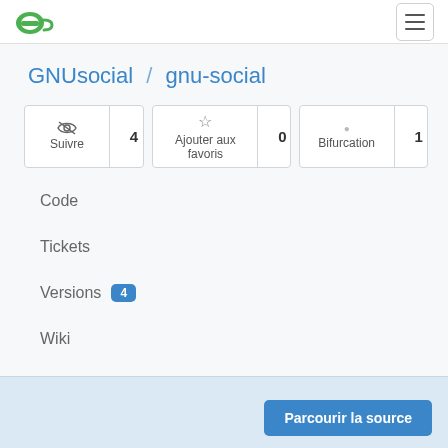GNUsocial logo and hamburger menu
GNUsocial / gnu-social
Suivre 4 | Ajouter aux favoris 0 | Bifurcation 1
Code
Tickets
Versions 4
Wiki
Activité
Parcourir la source